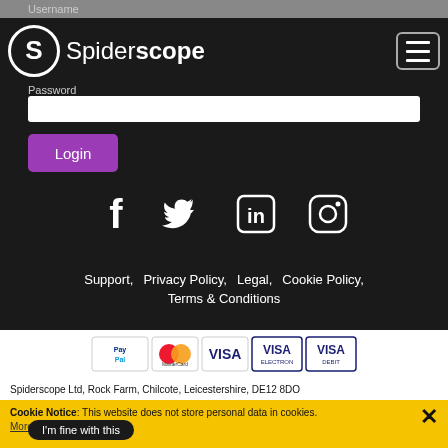Username
[Figure (logo): Spiderscope logo: white S in circle, brand name Spider bold scope]
Password
Login
[Figure (illustration): Social media icons row: Facebook, Twitter, LinkedIn, Instagram]
Support, Privacy Policy, Legal, Cookie Policy, Terms & Conditions
[Figure (illustration): Payment logos: PayPal, MasterCard, VISA, VISA Electron, VISA Debit]
Spiderscope Ltd, Rock Farm, Chilcote, Leicestershire, DE12 8DO
Cookie Notice: This website does not store personal data in cookies. More info ...
I'm fine with this